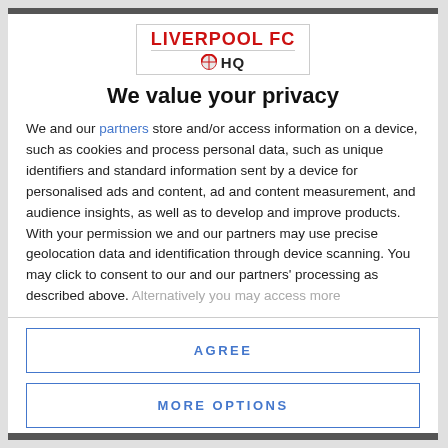[Figure (logo): Liverpool FC HQ logo with red text and football icon]
We value your privacy
We and our partners store and/or access information on a device, such as cookies and process personal data, such as unique identifiers and standard information sent by a device for personalised ads and content, ad and content measurement, and audience insights, as well as to develop and improve products. With your permission we and our partners may use precise geolocation data and identification through device scanning. You may click to consent to our and our partners' processing as described above. Alternatively you may access more
AGREE
MORE OPTIONS